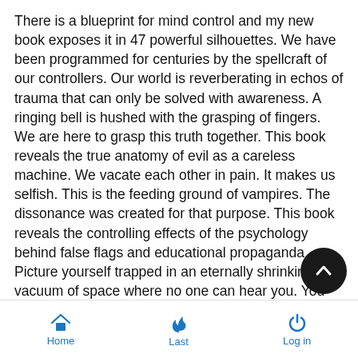There is a blueprint for mind control and my new book exposes it in 47 powerful silhouettes. We have been programmed for centuries by the spellcraft of our controllers. Our world is reverberating in echos of trauma that can only be solved with awareness. A ringing bell is hushed with the grasping of fingers. We are here to grasp this truth together. This book reveals the true anatomy of evil as a careless machine. We vacate each other in pain. It makes us selfish. This is the feeding ground of vampires. The dissonance was created for that purpose. This book reveals the controlling effects of the psychology behind false flags and educational propaganda. Picture yourself trapped in an eternally shrinking vacuum of space where no one can hear you. You are freak pond scum that fornicated yourself into a mutant fish-monkey. You live in fear of tumbling asteroids, your own footprints, and the magic of E=MC2. Our media and Hollywood are licensed fear porn agents here to keep you impotent. They hide the truth. We are living in a world of hu slavery and sacrifice.
Home | Last | Log in